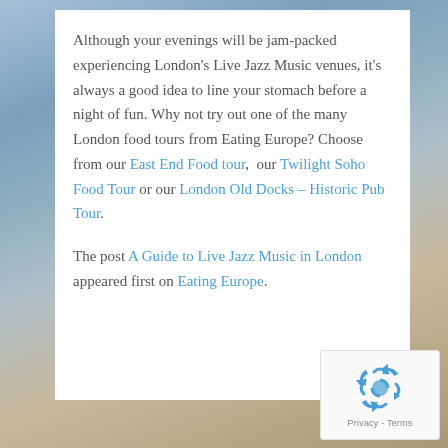Although your evenings will be jam-packed experiencing London's Live Jazz Music venues, it's always a good idea to line your stomach before a night of fun. Why not try out one of the many London food tours from Eating Europe? Choose from our East End Food tour, our Twilight Soho Food Tour or our London Old Docks – Historic Pub Tour.
The post A Guide to Live Jazz Music in London appeared first on Eating Europe.
[Figure (logo): reCAPTCHA logo with recycling arrows icon and 'Privacy – Terms' text below]